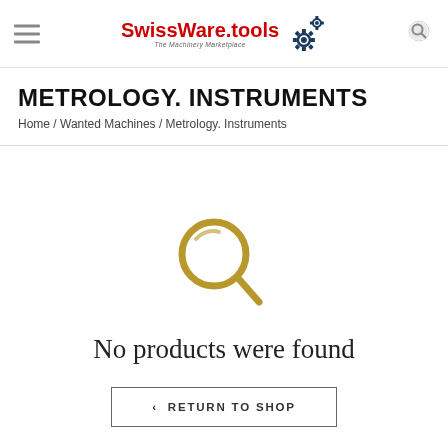[Figure (logo): SwissWare.tools logo with gear icons and tagline 'The Machinery Marketplace']
METROLOGY. INSTRUMENTS
Home / Wanted Machines / Metrology. Instruments
[Figure (illustration): Gold magnifying glass icon indicating no products found]
No products were found
< RETURN TO SHOP